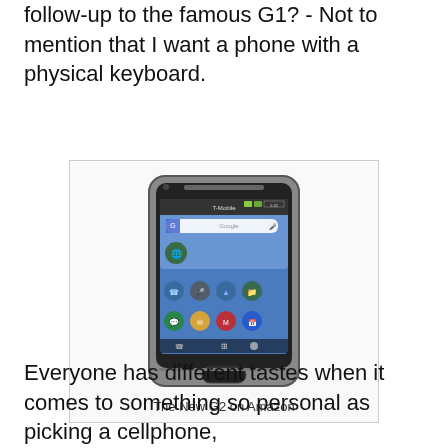follow-up to the famous G1? - Not to mention that I want a phone with a physical keyboard.
[Figure (photo): An Android smartphone (T-Mobile G2) showing the home screen with app icons including Messaging, Email, Gmail, Calendar, and a Google search bar.]
The New G2 on Amazon
Everyone has different tastes when it comes to something so personal as picking a cellphone,